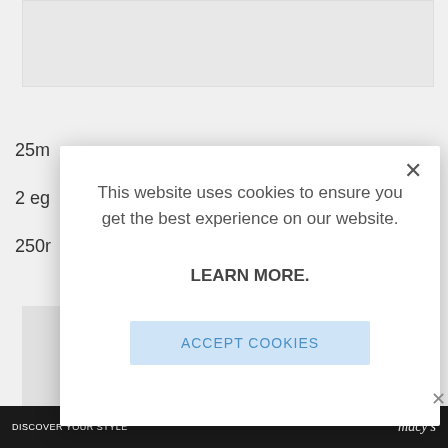[Figure (screenshot): Top image placeholder area, light gray background]
25m
2 eg
250r
[Figure (screenshot): Bottom left image area showing partial photo]
This website uses cookies to ensure you get the best experience on our website.

LEARN MORE.

ACCEPT COOKIES